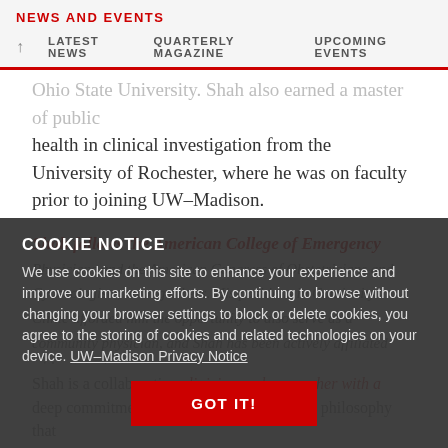NEWS AND EVENTS
LATEST NEWS   QUARTERLY MAGAZINE   UPCOMING EVENTS
Ohio State University. Shah also earned a master of public health in clinical investigation from the University of Rochester, where he was on faculty prior to joining UW–Madison.
Shah fellows the American College of Emergency Physicians and the American Congress of Obstetricians and Gynecologists, among others. His positions in Continuity Clinic afforded him the opportunity to also serve as a community physician, and Shah has been actively affiliated with clinical practice throughout his career...
COOKIE NOTICE
We use cookies on this site to enhance your experience and improve our marketing efforts. By continuing to browse without changing your browser settings to block or delete cookies, you agree to the storing of cookies and related technologies on your device. UW–Madison Privacy Notice
GOT IT!
Shah is a collaborative clinician and researcher with a deep commitment to the Wisconsin Idea, the philosophy that...